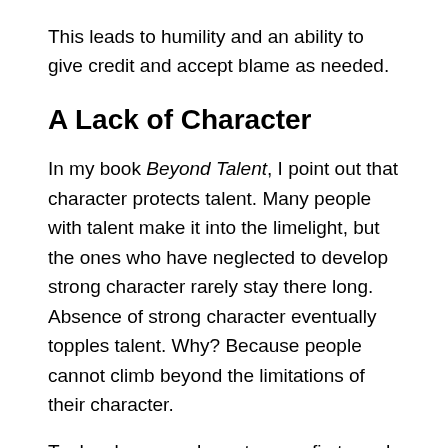This leads to humility and an ability to give credit and accept blame as needed.
A Lack of Character
In my book Beyond Talent, I point out that character protects talent. Many people with talent make it into the limelight, but the ones who have neglected to develop strong character rarely stay there long. Absence of strong character eventually topples talent. Why? Because people cannot climb beyond the limitations of their character.
To develop your character, you first need to recognize its lack in your life. Usually, all you need to do is compare what you say with what you do. Wherever they don't match, that shows a lack of character. Align